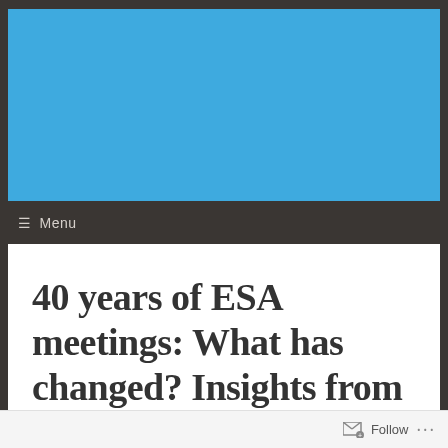[Figure (illustration): Solid blue rectangular banner image used as a website header background]
≡ Menu
40 years of ESA meetings: What has changed? Insights from Laura